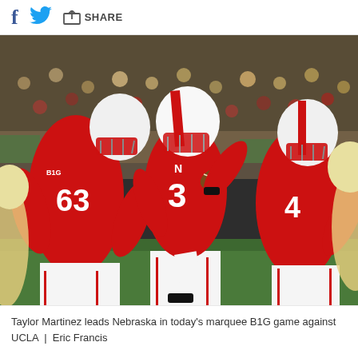f [Twitter bird] SHARE
[Figure (photo): Taylor Martinez, Nebraska quarterback wearing #3 red jersey, drops back to pass during a football game. Offensive lineman #63 in red jersey blocks on the left. Another Nebraska lineman blocks on the right. Opponents in white/gold uniforms visible. Stadium crowd in background.]
Taylor Martinez leads Nebraska in today's marquee B1G game against UCLA  |  Eric Francis